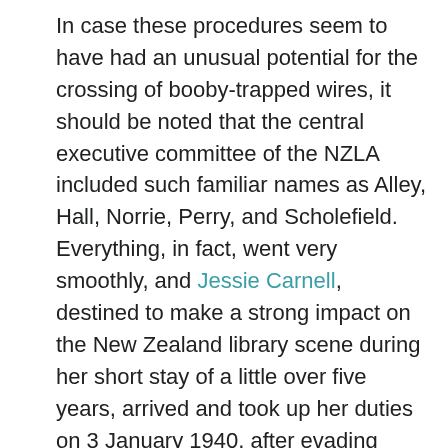In case these procedures seem to have had an unusual potential for the crossing of booby-trapped wires, it should be noted that the central executive committee of the NZLA included such familiar names as Alley, Hall, Norrie, Perry, and Scholefield. Everything, in fact, went very smoothly, and Jessie Carnell, destined to make a strong impact on the New Zealand library scene during her short stay of a little over five years, arrived and took up her duties on 3 January 1940, after evading German submarines and visiting libraries in the United States on the way out.⁷
Carnell had gained the diploma of the Library Association (London) in 1931, and the same association's honours diploma in 1936 upon acceptance of her thesis, 'The